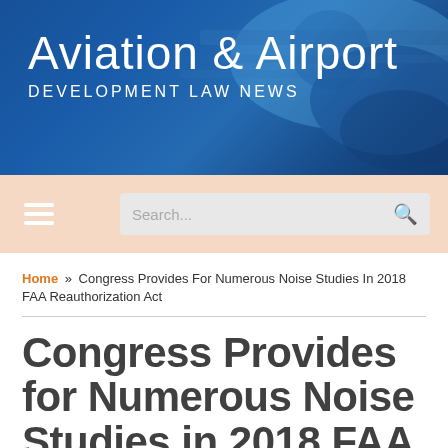[Figure (photo): Aviation and airport header banner with airplane image and blue overlay, showing 'Aviation & Airport DEVELOPMENT LAW NEWS' text]
Aviation & Airport
DEVELOPMENT LAW NEWS
Search...
Home » Congress Provides For Numerous Noise Studies In 2018 FAA Reauthorization Act
Congress Provides for Numerous Noise Studies in 2018 FAA Reauthorization